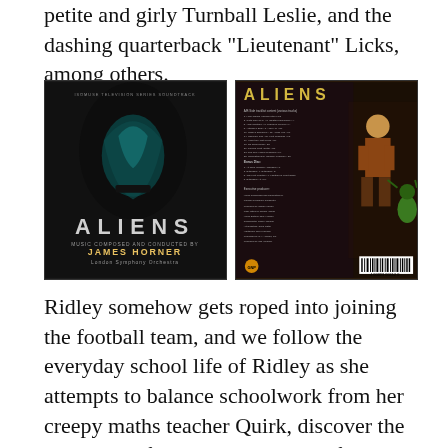petite and girly Turnball Leslie, and the dashing quarterback “Lieutenant” Licks, among others.
[Figure (photo): Two album covers for the Aliens TV/cartoon series soundtrack by James Horner performed by London Symphony Orchestra. Left cover shows the dark alien head silhouette in teal/black with 'ALIENS' text and composer credits. Right cover shows animated characters with 'ALIENS' title, tracklist text, and barcode.]
Ridley somehow gets roped into joining the football team, and we follow the everyday school life of Ridley as she attempts to balance schoolwork from her creepy maths teacher Quirk, discover the mysteries of the mysterious transfer student Castle, who is revealed to be a cyborg in the series finale (he prefers the term “organic robot”), learn to be “one of the boys” on the football team, and work out her feelings with the gorgeous Lt.